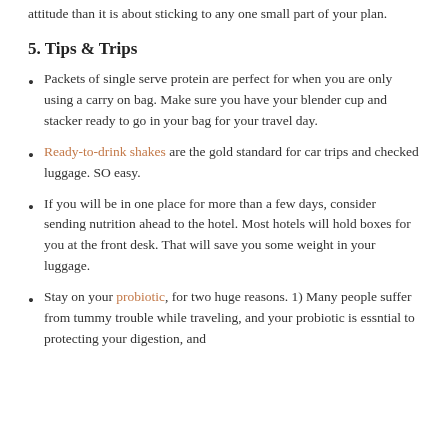attitude than it is about sticking to any one small part of your plan.
5. Tips & Trips
Packets of single serve protein are perfect for when you are only using a carry on bag.  Make sure you have your blender cup and stacker ready to go in your bag for your travel day.
Ready-to-drink shakes are the gold standard for car trips and checked luggage.  SO easy.
If you will be in one place for more than a few days, consider sending nutrition ahead to the hotel.  Most hotels will hold boxes for you at the front desk.  That will save you some weight in your luggage.
Stay on your probiotic, for two huge reasons.  1) Many people suffer from tummy trouble while traveling, and your probiotic is essntial to protecting your digestion, and